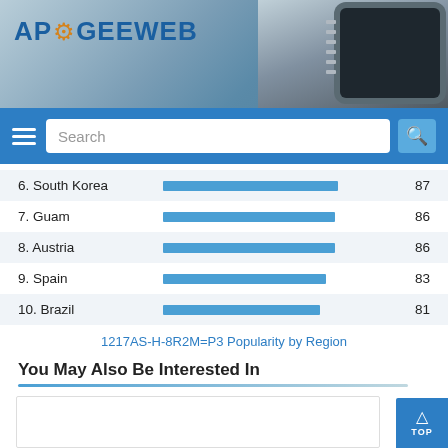[Figure (logo): ApoGeeWeb logo with gear icon on header with circuit board chip image]
[Figure (bar-chart): Popularity by Region (ranks 6-10)]
1217AS-H-8R2M=P3 Popularity by Region
You May Also Be Interested In